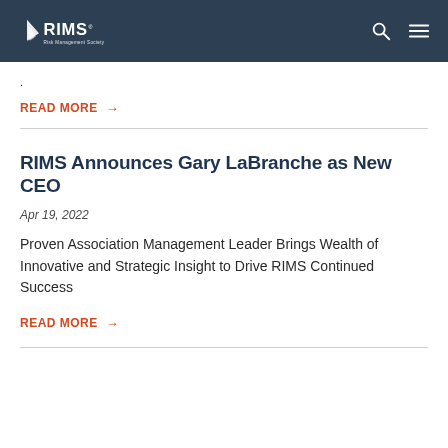RIMS
.
READ MORE →
RIMS Announces Gary LaBranche as New CEO
Apr 19, 2022
Proven Association Management Leader Brings Wealth of Innovative and Strategic Insight to Drive RIMS Continued Success
READ MORE →